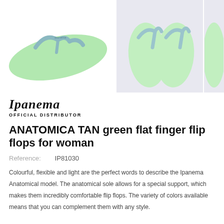[Figure (photo): Three views of light green Ipanema flip flop sandals on white/light lavender backgrounds. Left image shows a single flip flop from the side, middle shows a pair from above, right shows a partial third view.]
[Figure (logo): Ipanema brand logo in italic serif script with 'OFFICIAL DISTRIBUTOR' text below in small caps]
ANATOMICA TAN green flat finger flip flops for woman
Reference:    IP81030
Colourful, flexible and light are the perfect words to describe the Ipanema Anatomical model. The anatomical sole allows for a special support, which makes them incredibly comfortable flip flops. The variety of colors available means that you can complement them with any style.